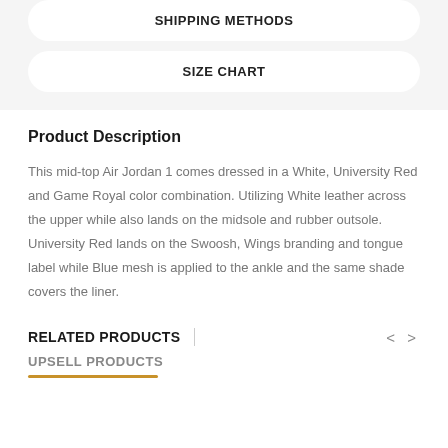SHIPPING METHODS
SIZE CHART
Product Description
This mid-top Air Jordan 1 comes dressed in a White, University Red and Game Royal color combination. Utilizing White leather across the upper while also lands on the midsole and rubber outsole. University Red lands on the Swoosh, Wings branding and tongue label while Blue mesh is applied to the ankle and the same shade covers the liner.
RELATED PRODUCTS
UPSELL PRODUCTS